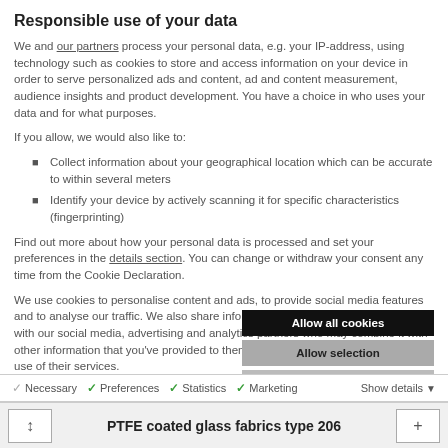Responsible use of your data
We and our partners process your personal data, e.g. your IP-address, using technology such as cookies to store and access information on your device in order to serve personalized ads and content, ad and content measurement, audience insights and product development. You have a choice in who uses your data and for what purposes.
If you allow, we would also like to:
Collect information about your geographical location which can be accurate to within several meters
Identify your device by actively scanning it for specific characteristics (fingerprinting)
Find out more about how your personal data is processed and set your preferences in the details section. You can change or withdraw your consent any time from the Cookie Declaration.
We use cookies to personalise content and ads, to provide social media features and to analyse our traffic. We also share information about your use of our site with our social media, advertising and analytics partners who may combine it with other information that you've provided to them or that they've collected from your use of their services.
Allow all cookies
Allow selection
Use necessary cookies only
Necessary   Preferences   Statistics   Marketing   Show details
PTFE coated glass fabrics type 206